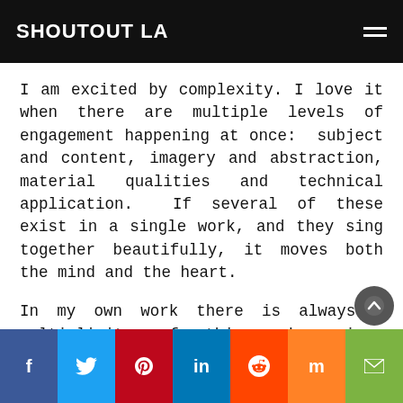SHOUTOUT LA
I am excited by complexity. I love it when there are multiple levels of engagement happening at once:  subject and content, imagery and abstraction, material qualities and technical application.  If several of these exist in a single work, and they sing together beautifully, it moves both the mind and the heart.
In my own work there is always a multiplicity of things happening: development of idea and design; masking and hand-painted rendering; poured, troweled, or extruded paint.  Each piece is approached as an unique env…